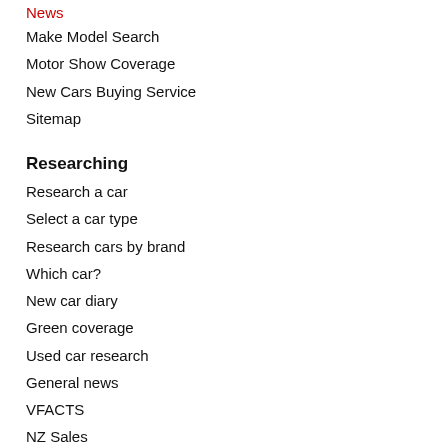News
Make Model Search
Motor Show Coverage
New Cars Buying Service
Sitemap
Researching
Research a car
Select a car type
Research cars by brand
Which car?
New car diary
Green coverage
Used car research
General news
VFACTS
NZ Sales
Glossary
GoAutoMedia
GoAutoMedia